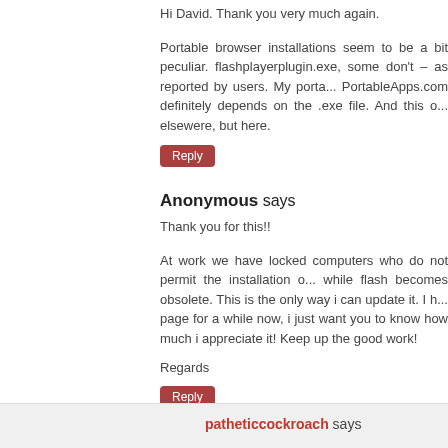Hi David. Thank you very much again.
Portable browser installations seem to be a bit peculiar. flashplayerplugin.exe, some don't – as reported by users. My porta... PortableApps.com definitely depends on the .exe file. And this o... elsewere, but here.
Reply
Anonymous says
Thank you for this!!
At work we have locked computers who do not permit the installation o... while flash becomes obsolete. This is the only way i can update it. I h... page for a while now, i just want you to know how much i appreciate it! Keep up the good work!
Regards
Reply
Charles says
David.
Please, Update v11.9.900.152
Thank you!!
Reply
patheticcockroach says